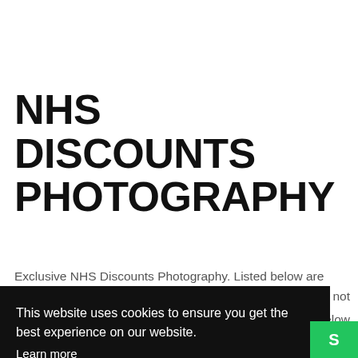NHS DISCOUNTS PHOTOGRAPHY
Exclusive NHS Discounts Photography. Listed below are
not
below
This website uses cookies to ensure you get the best experience on our website.
Learn more
Got it!